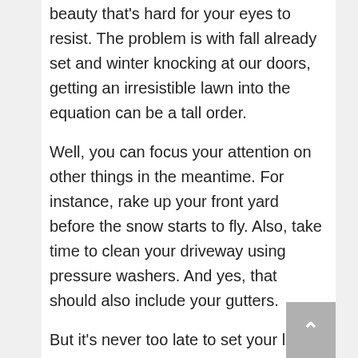beauty that’s hard for your eyes to resist. The problem is with fall already set and winter knocking at our doors, getting an irresistible lawn into the equation can be a tall order.
Well, you can focus your attention on other things in the meantime. For instance, rake up your front yard before the snow starts to fly. Also, take time to clean your driveway using pressure washers. And yes, that should also include your gutters.
But it’s never too late to set your lawn up. You can always rely on sods to get an instant lawn in the mix. Getting access to a reliable sod supply should be wise on your part. Take note that the window is still wide